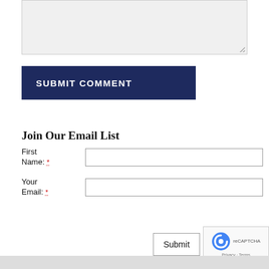[Figure (screenshot): Gray textarea input box with resize handle at bottom right]
SUBMIT COMMENT
Join Our Email List
First Name: *
Your Email: *
Submit
[Figure (screenshot): reCAPTCHA badge with Privacy - Terms text]